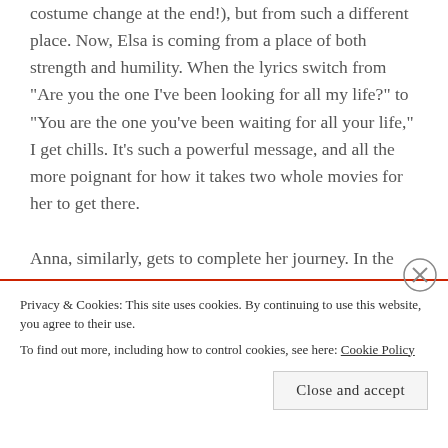costume change at the end!), but from such a different place. Now, Elsa is coming from a place of both strength and humility. When the lyrics switch from "Are you the one I've been looking for all my life?" to "You are the one you've been waiting for all your life," I get chills. It's such a powerful message, and all the more poignant for how it takes two whole movies for her to get there.
Anna, similarly, gets to complete her journey. In the first movie, her fierce love of her sister saves Elsa, and she gets to have the kind of sibling relationship she longs for. But in the second, Anna learns that she is strong even without her sister, and begins to find her own future and her own role.
Privacy & Cookies: This site uses cookies. By continuing to use this website, you agree to their use.
To find out more, including how to control cookies, see here: Cookie Policy
Close and accept